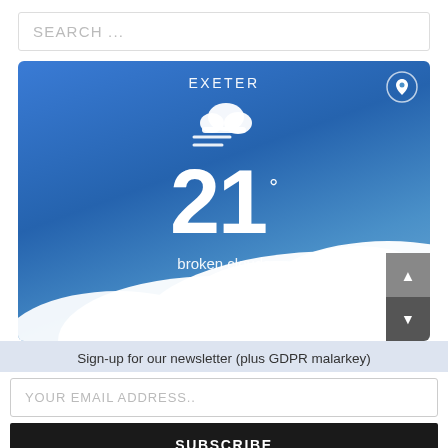SEARCH ...
[Figure (screenshot): Weather widget showing Exeter weather: broken clouds, 21°C, 59% humidity, wind 5m/s WSW, H 23 • L 20, with blue sky and cloud background]
Sign-up for our newsletter (plus GDPR malarkey)
YOUR EMAIL ADDRESS..
SUBSCRIBE